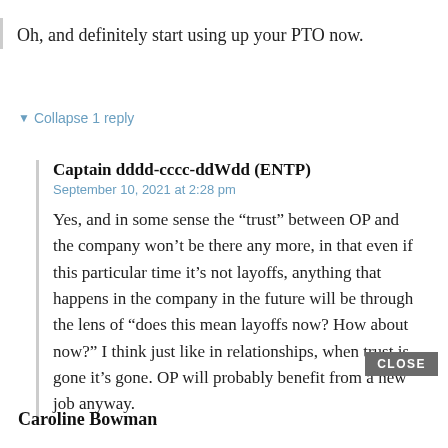Oh, and definitely start using up your PTO now.
▼ Collapse 1 reply
Captain dddd-cccc-ddWdd (ENTP)
September 10, 2021 at 2:28 pm
Yes, and in some sense the “trust” between OP and the company won’t be there any more, in that even if this particular time it’s not layoffs, anything that happens in the company in the future will be through the lens of “does this mean layoffs now? How about now?” I think just like in relationships, when trust is gone it’s gone. OP will probably benefit from a new job anyway.
Caroline Bowman